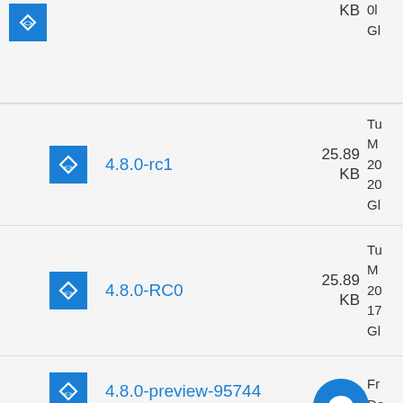KB
0l
Gl
4.8.0-rc1 | 25.89 KB | Tu
M
20
20
Gl
4.8.0-RC0 | 25.89 KB | Tu
M
20
17
Gl
4.8.0-preview-95744 | Fr
De
19
Gl